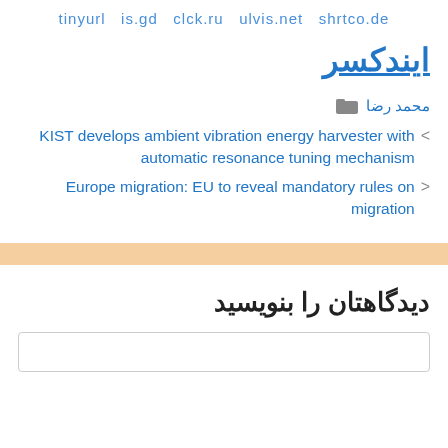tinyurl  is.gd  clck.ru  ulvis.net  shrtco.de
ایندکسر
محمد رضا
KIST develops ambient vibration energy harvester with automatic resonance tuning mechanism
Europe migration: EU to reveal mandatory rules on migration
دیدگاهتان را بنویسید